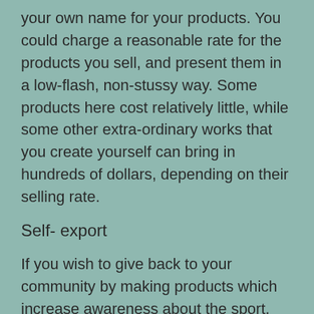your own name for your products. You could charge a reasonable rate for the products you sell, and present them in a low-flash, non-stussy way. Some products here cost relatively little, while some other extra-ordinary works that you create yourself can bring in hundreds of dollars, depending on their selling rate.
Self- export
If you wish to give back to your community by making products which increase awareness about the sport, getting products made and sold which honor your fellow sportworms, then